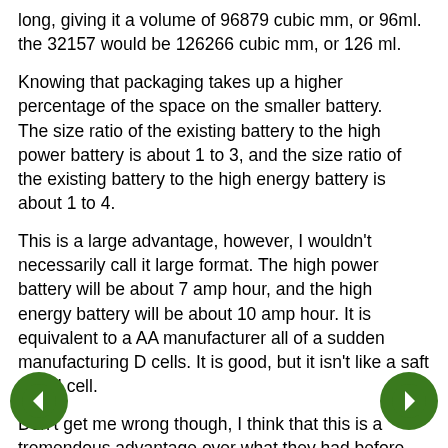long, giving it a volume of 96879 cubic mm, or 96ml. the 32157 would be 126266 cubic mm, or 126 ml.
Knowing that packaging takes up a higher percentage of the space on the smaller battery. The size ratio of the existing battery to the high power battery is about 1 to 3, and the size ratio of the existing battery to the high energy battery is about 1 to 4.
This is a large advantage, however, I wouldn't necessarily call it large format. The high power battery will be about 7 amp hour, and the high energy battery will be about 10 amp hour. It is equivalent to a AA manufacturer all of a sudden manufacturing D cells. It is good, but it isn't like a saft 45AH cell.
Don't get me wrong though, I think that this is a tremendous advantage over what they had before, and if they will sell them retail or wholesale without a maintenance contract, or integrated electronics, and to someone besides dewalt, I think that it will be a tremendous boon for the EV market.